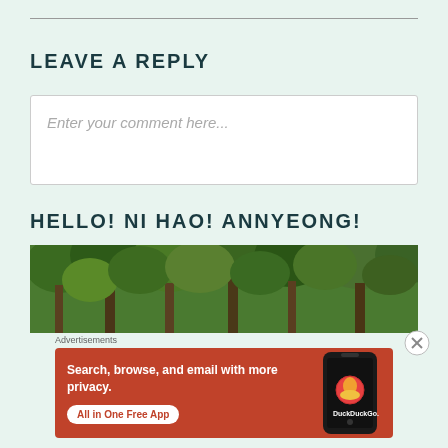LEAVE A REPLY
Enter your comment here...
HELLO! NI HAO! ANNYEONG!
[Figure (photo): Forest with trees and green canopy]
Advertisements
[Figure (other): DuckDuckGo advertisement: Search, browse, and email with more privacy. All in One Free App. Shows a smartphone with DuckDuckGo logo.]